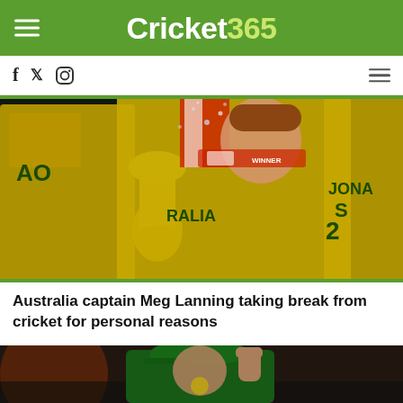Cricket365
[Figure (photo): Australian women's cricket team celebrating with trophy, player in yellow Australia jersey with medal holding the World Cup trophy, champagne spraying, player 'JONAS' visible on back of jersey on right]
Australia captain Meg Lanning taking break from cricket for personal reasons
[Figure (photo): Cricket player in green Ireland cap and green jersey with fist raised in celebration, crowd blurred in background]